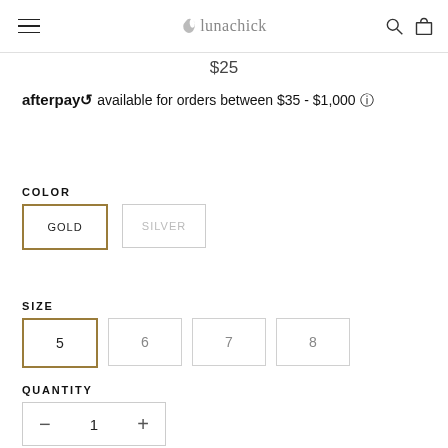lunachick
$25
afterpay available for orders between $35 - $1,000 ℹ
COLOR
GOLD | SILVER
SIZE
5 | 6 | 7 | 8
QUANTITY
- 1 +